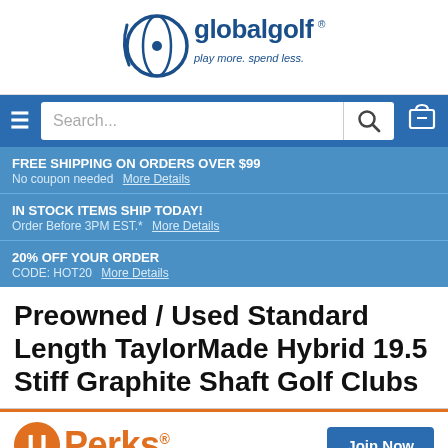[Figure (logo): globalgolf logo with oval golf ball icon and cursive/sans text]
[Figure (screenshot): Navigation bar with hamburger menu, search box with placeholder 'Search...', search icon, and shopping cart icon on blue background]
FREE SHIPPING ON ORDERS OVER $99 — No coupon needed   More Details
IN STOCK ITEMS SHIP TODAY! — Order Before 3PM EST.*   More Details
20% OFF YOUR ORDER — CODE: HOT20   More Details
Preowned / Used Standard Length TaylorMade Hybrid 19.5 Stiff Graphite Shaft Golf Clubs
[Figure (logo): Perks logo with orange circle U icon and orange Perks text, plus blue Join Now button]